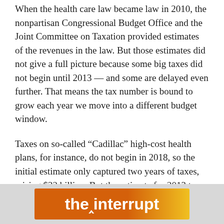When the health care law became law in 2010, the nonpartisan Congressional Budget Office and the Joint Committee on Taxation provided estimates of the revenues in the law. But those estimates did not give a full picture because some big taxes did not begin until 2013 — and some are delayed even further. That means the tax number is bound to grow each year we move into a different budget window.
Taxes on so-called “Cadillac” high-cost health plans, for instance, do not begin in 2018, so the initial estimate only captured two years of taxes, raising $32 billion. But the estimate for 2013 to 2022 captures five years of that tax, and so the revenue number grows to $111 billion.
[Figure (logo): Advertisement banner with orange and yellow gradient background reading 'the interrupt' with a caret symbol between 'the' and 'interrupt' in white bold sans-serif text.]